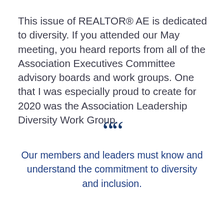This issue of REALTOR® AE is dedicated to diversity. If you attended our May meeting, you heard reports from all of the Association Executives Committee advisory boards and work groups. One that I was especially proud to create for 2020 was the Association Leadership Diversity Work Group.
““
Our members and leaders must know and understand the commitment to diversity and inclusion.